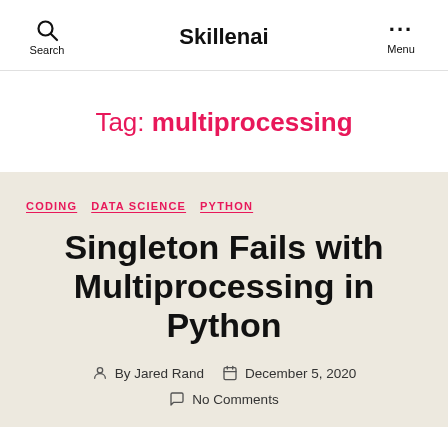Search  Skillenai  ··· Menu
Tag: multiprocessing
CODING  DATA SCIENCE  PYTHON
Singleton Fails with Multiprocessing in Python
By Jared Rand  December 5, 2020  No Comments